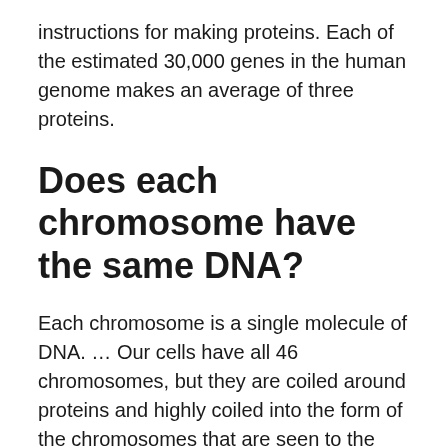instructions for making proteins. Each of the estimated 30,000 genes in the human genome makes an average of three proteins.
Does each chromosome have the same DNA?
Each chromosome is a single molecule of DNA. … Our cells have all 46 chromosomes, but they are coiled around proteins and highly coiled into the form of the chromosomes that are seen to the right. The chromosomes of eukaryotes are contained within the membrane-bound nucleus.